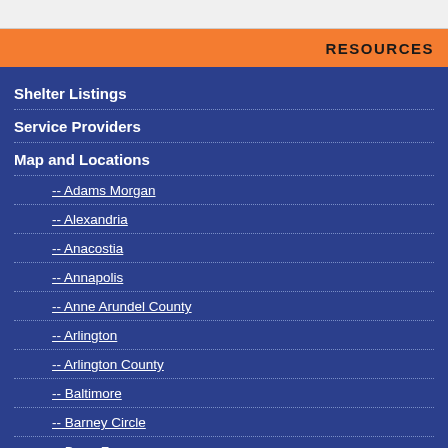RESOURCES
Shelter Listings
Service Providers
Map and Locations
-- Adams Morgan
-- Alexandria
-- Anacostia
-- Annapolis
-- Anne Arundel County
-- Arlington
-- Arlington County
-- Baltimore
-- Barney Circle
-- Barry Farm